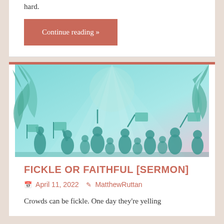hard.
Continue reading »
FICKLE OR FAITHFUL [SERMON]
April 11, 2022   MatthewRuttan
Crowds can be fickle. One day they're yelling